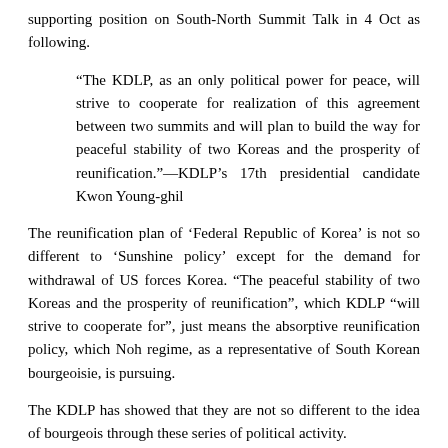supporting position on South-North Summit Talk in 4 Oct as following.
“The KDLP, as an only political power for peace, will strive to cooperate for realization of this agreement between two summits and will plan to build the way for peaceful stability of two Koreas and the prosperity of reunification.”—KDLP’s 17th presidential candidate Kwon Young-ghil
The reunification plan of ‘Federal Republic of Korea’ is not so different to ‘Sunshine policy’ except for the demand for withdrawal of US forces Korea. “The peaceful stability of two Koreas and the prosperity of reunification”, which KDLP “will strive to cooperate for”, just means the absorptive reunification policy, which Noh regime, as a representative of South Korean bourgeoisie, is pursuing.
The KDLP has showed that they are not so different to the idea of bourgeois through these series of political activity.
2.   Popular Front